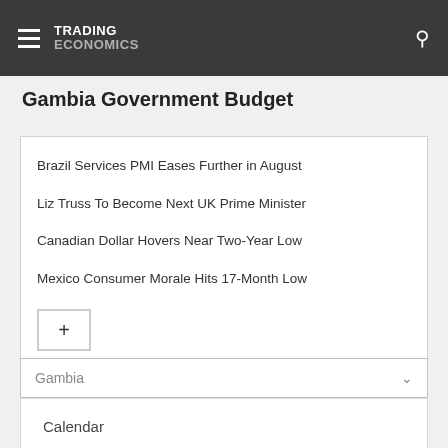TRADING ECONOMICS
Gambia Government Budget
Brazil Services PMI Eases Further in August
Liz Truss To Become Next UK Prime Minister
Canadian Dollar Hovers Near Two-Year Low
Mexico Consumer Morale Hits 17-Month Low
Gambia
Calendar
Forecast
Indicators
News